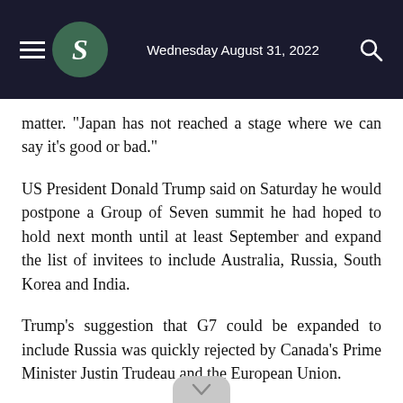Wednesday August 31, 2022
matter. "Japan has not reached a stage where we can say it's good or bad."
US President Donald Trump said on Saturday he would postpone a Group of Seven summit he had hoped to hold next month until at least September and expand the list of invitees to include Australia, Russia, South Korea and India.
Trump's suggestion that G7 could be expanded to include Russia was quickly rejected by Canada's Prime Minister Justin Trudeau and the European Union.